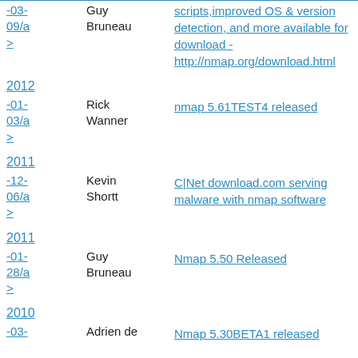-03-09/a> Guy Bruneau scripts,improved OS & version detection, and more available for download - http://nmap.org/download.html
2012 -01-03/a> Rick Wanner nmap 5.61TEST4 released
2011 -12-06/a> Kevin Shortt C|Net download.com serving malware with nmap software
2011 -01-28/a> Guy Bruneau Nmap 5.50 Released
2010 -03- Adrien de Nmap 5.30BETA1 released